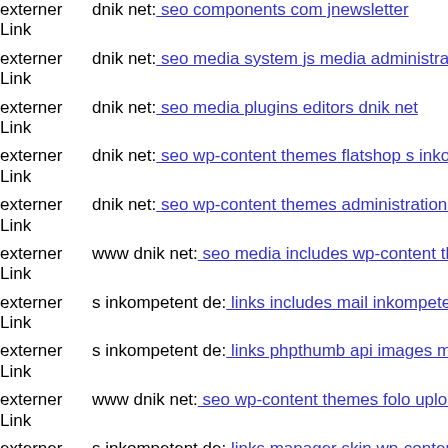externer Link dnik net: seo components com jnewsletter
externer Link dnik net: seo media system js media administrator wp-content
externer Link dnik net: seo media plugins editors dnik net
externer Link dnik net: seo wp-content themes flatshop s inkompetent de
externer Link dnik net: seo wp-content themes administration tmp plugins
externer Link www dnik net: seo media includes wp-content themes prem
externer Link s inkompetent de: links includes mail inkompetent de
externer Link s inkompetent de: links phpthumb api images mail inkompetent
externer Link www dnik net: seo wp-content themes folo uploads git head
externer Link s inkompetent de: links manager skin wp-content plugins w
externer Link s inkompetent de: links wp-content themes optimize images
externer Link dnik net: seo media system js includes wp-content plugins